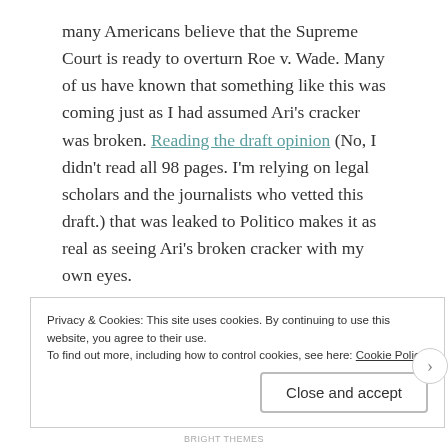many Americans believe that the Supreme Court is ready to overturn Roe v. Wade. Many of us have known that something like this was coming just as I had assumed Ari's cracker was broken. Reading the draft opinion (No, I didn't read all 98 pages. I'm relying on legal scholars and the journalists who vetted this draft.) that was leaked to Politico makes it as real as seeing Ari's broken cracker with my own eyes.
Something in this country is broken. Unlike Ari's cracker, this is not a game. Women's lives will be at risk if Roe is overturned.
Privacy & Cookies: This site uses cookies. By continuing to use this website, you agree to their use. To find out more, including how to control cookies, see here: Cookie Policy
Close and accept